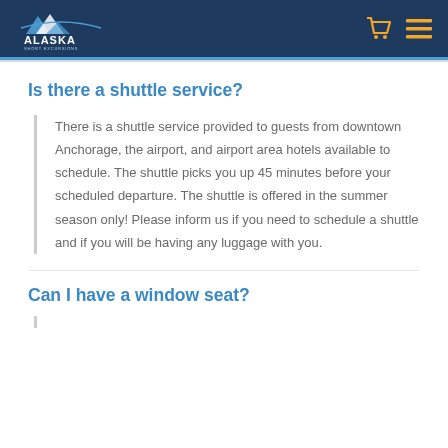Alaska Shore Excursions
Is there a shuttle service?
There is a shuttle service provided to guests from downtown Anchorage, the airport, and airport area hotels available to schedule. The shuttle picks you up 45 minutes before your scheduled departure. The shuttle is offered in the summer season only! Please inform us if you need to schedule a shuttle and if you will be having any luggage with you.
Can I have a window seat?